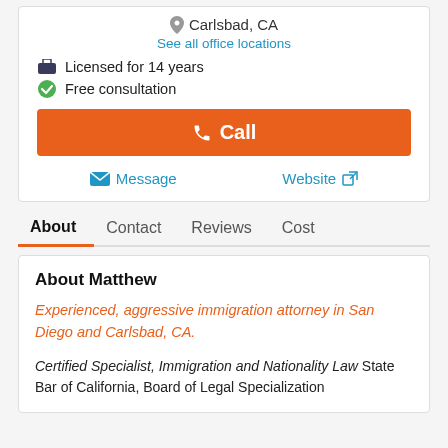Carlsbad, CA
See all office locations
Licensed for 14 years
Free consultation
Call
Message
Website
About
Contact
Reviews
Cost
About Matthew
Experienced, aggressive immigration attorney in San Diego and Carlsbad, CA.
Certified Specialist, Immigration and Nationality Law State Bar of California, Board of Legal Specialization